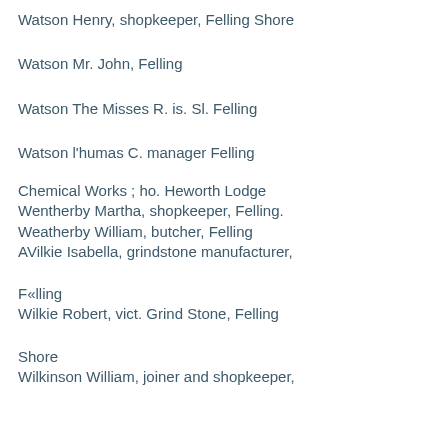Watson Henry, shopkeeper, Felling Shore
Watson Mr. John, Felling
Watson The Misses R. is. Sl. Felling
Watson l'humas C. manager Felling
Chemical Works ; ho. Heworth Lodge
Wentherby Martha, shopkeeper, Felling.
Weatherby William, butcher, Felling
AVilkie Isabella, grindstone manufacturer,
F«lling
Wilkie Robert, vict. Grind Stone, Felling
Shore
Wilkinson William, joiner and shopkeeper,